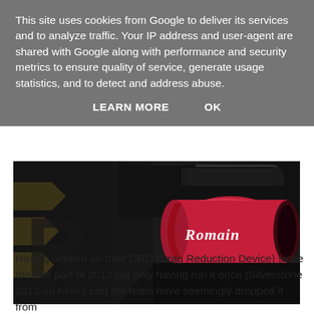This site uses cookies from Google to deliver its services and to analyze traffic. Your IP address and user-agent are shared with Google along with performance and security metrics to ensure quality of service, generate usage statistics, and to detect and address abuse.
LEARN MORE   OK
[Figure (photo): Close-up photo of a Formula 1 car's DRD (Drag Reduction Device) component. The device is red and cylindrical, mounted on a black and gold car body. The text 'Romain' is written in white italic script on the red component.]
Having worked on their DRD (Drag Reduction Device) since the late part of 2012 but only having run it once (Silverstone 2013 on Kimi's car) the team have seemingly dropped it from